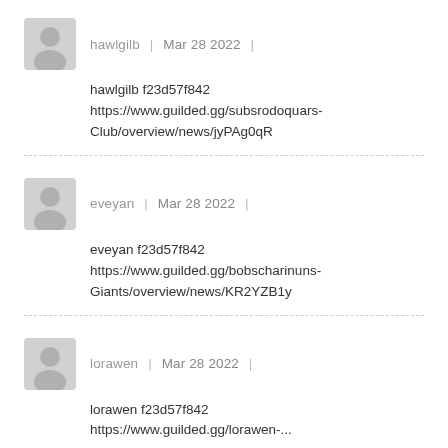hawlgilb | Mar 28 2022 |
hawlgilb f23d57f842 https://www.guilded.gg/subsrodoquars-Club/overview/news/jyPAg0qR
eveyan | Mar 28 2022 |
eveyan f23d57f842 https://www.guilded.gg/bobscharinuns-Giants/overview/news/KR2YZB1y
lorawen | Mar 28 2022 |
lorawen f23d57f842 https://www.guilded.gg/lorawen-...